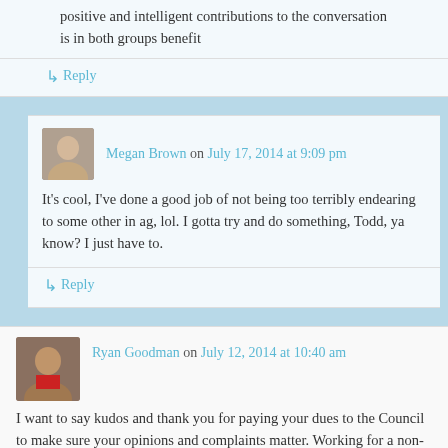positive and intelligent contributions to the conversation is in both groups benefit
↳ Reply
Megan Brown on July 17, 2014 at 9:09 pm
It's cool, I've done a good job of not being too terribly endearing to some other in ag, lol. I gotta try and do something, Todd, ya know? I just have to.
↳ Reply
Ryan Goodman on July 12, 2014 at 10:40 am
I want to say kudos and thank you for paying your dues to the Council to make sure your opinions and complaints matter. Working for a non-profit membership organization, there is nothing more frustrating than a non-member wanting to call, complain, and badmouth our work and never bother to pay their dues or try to play a role in actually making a difference